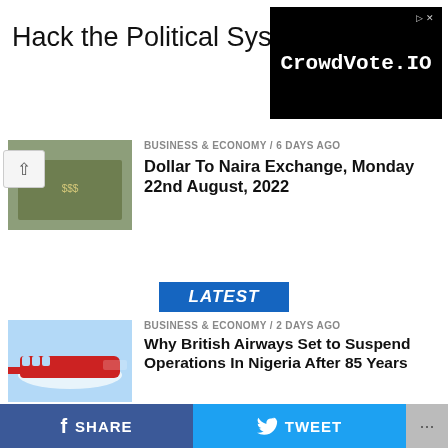[Figure (screenshot): Advertisement banner: 'Hack the Political System.' on left, CrowdVote.IO black box on right]
BUSINESS & ECONOMY / 6 days ago
Dollar To Naira Exchange, Monday 22nd August, 2022
[Figure (photo): Photo of dollar bills held in hand]
LATEST
BUSINESS & ECONOMY / 2 days ago
Why British Airways Set to Suspend Operations In Nigeria After 85 Years
[Figure (photo): Photo of a British Airways airplane flying above clouds]
BUSINESS & ECONOMY / 2 days ago
FAAC Disburses N954.085 Billion To FG, States, Local Govts in July
[Figure (photo): FAAC logo on Nigerian flag background]
SHARE  TWEET  ...